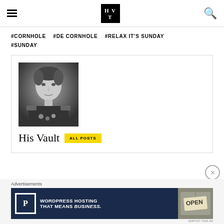HVT logo, hamburger menu, search icon
#CORNHOLE   #DE CORNHOLE   #RELAX IT'S SUNDAY
#SUNDAY
[Figure (photo): Black and white portrait of a man dressed in historical military uniform with epaulettes and medals, styled as a classical portrait painting]
His Vault   ALL POSTS
Advertisements
[Figure (photo): Advertisement banner for WordPress hosting: blue background with P parking icon, text 'WORDPRESS HOSTING THAT MEANS BUSINESS.' and an OPEN sign photo on the right]